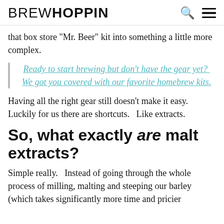BREW HOPPIN
that box store "Mr. Beer" kit into something a little more complex.
Ready to start brewing but don't have the gear yet?  We got you covered with our favorite homebrew kits.
Having all the right gear still doesn't make it easy.  Luckily for us there are shortcuts.   Like extracts.
So, what exactly are malt extracts?
Simple really.   Instead of going through the whole process of milling, malting and steeping our barley (which takes significantly more time and pricier